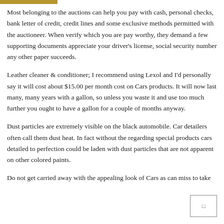Most belonging to the auctions can help you pay with cash, personal checks, bank letter of credit, credit lines and some exclusive methods permitted with the auctioneer. When verify which you are pay worthy, they demand a few supporting documents appreciate your driver's license, social security number any other paper succeeds.
Leather cleaner & conditioner; I recommend using Lexol and I'd personally say it will cost about $15.00 per month cost on Cars products. It will now last many, many years with a gallon, so unless you waste it and use too much further you ought to have a gallon for a couple of months anyway.
Dust particles are extremely visible on the black automobile. Car detailers often call them dust heat. In fact without the regarding special products cars detailed to perfection could be laden with dust particles that are not apparent on other colored paints.
Do not get carried away with the appealing look of Cars as can miss to take